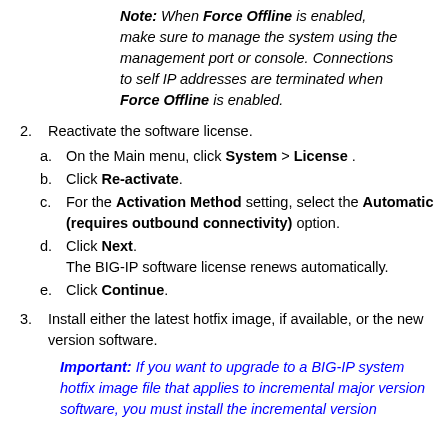Note: When Force Offline is enabled, make sure to manage the system using the management port or console. Connections to self IP addresses are terminated when Force Offline is enabled.
2. Reactivate the software license.
a. On the Main menu, click System > License .
b. Click Re-activate.
c. For the Activation Method setting, select the Automatic (requires outbound connectivity) option.
d. Click Next. The BIG-IP software license renews automatically.
e. Click Continue.
3. Install either the latest hotfix image, if available, or the new version software.
Important: If you want to upgrade to a BIG-IP system hotfix image file that applies to incremental major version software, you must install the incremental version